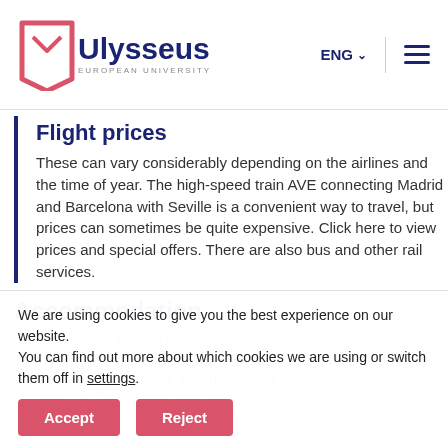Ulysseus European University — ENG navigation bar
Flight prices
These can vary considerably depending on the airlines and the time of year. The high-speed train AVE connecting Madrid and Barcelona with Seville is a convenient way to travel, but prices can sometimes be quite expensive. Click here to view prices and special offers. There are also bus and other rail services.
Accommodation
We are using cookies to give you the best experience on our website.
You can find out more about which cookies we are using or switch them off in settings.
You will also have to pay rent and a deposit. If you are flat-sharing you might have to pay two payments for the first month – the rent and a deposit. This deposit will usually be refunded when you leave. Click here for information from Universidad de Sevilla's University Community